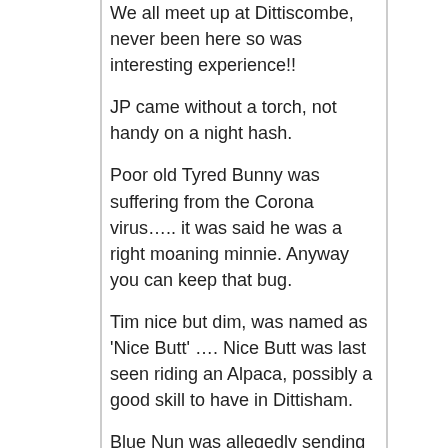We all meet up at Dittiscombe, never been here so was interesting experience!!
JP came without a torch, not handy on a night hash.
Poor old Tyred Bunny was suffering from the Corona virus….. it was said he was a right moaning minnie. Anyway you can keep that bug.
Tim nice but dim, was named as 'Nice Butt' …. Nice Butt was last seen riding an Alpaca, possibly a good skill to have in Dittisham.
Blue Nun was allegedly sending everyone the wrong way, this was thought to be deliberate.
Pugsley tried to pull a fast one, running ahead of Nice Buns and